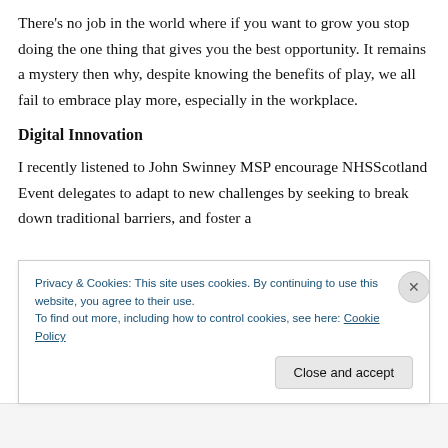There's no job in the world where if you want to grow you stop doing the one thing that gives you the best opportunity. It remains a mystery then why, despite knowing the benefits of play, we all fail to embrace play more, especially in the workplace.
Digital Innovation
I recently listened to John Swinney MSP encourage NHSScotland Event delegates to adapt to new challenges by seeking to break down traditional barriers, and foster a
Privacy & Cookies: This site uses cookies. By continuing to use this website, you agree to their use.
To find out more, including how to control cookies, see here: Cookie Policy